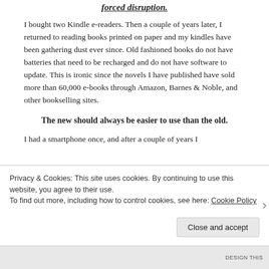forced disruption.
I bought two Kindle e-readers. Then a couple of years later, I returned to reading books printed on paper and my kindles have been gathering dust ever since. Old fashioned books do not have batteries that need to be recharged and do not have software to update. This is ironic since the novels I have published have sold more than 60,000 e-books through Amazon, Barnes & Noble, and other bookselling sites.
The new should always be easier to use than the old.
I had a smartphone once, and after a couple of years I
Privacy & Cookies: This site uses cookies. By continuing to use this website, you agree to their use.
To find out more, including how to control cookies, see here: Cookie Policy
Close and accept